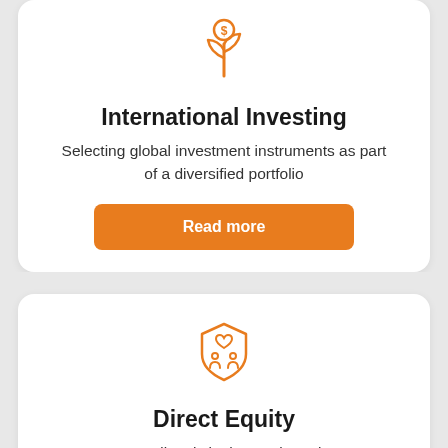[Figure (illustration): Orange icon of a plant with a dollar coin on top, representing investment growth]
International Investing
Selecting global investment instruments as part of a diversified portfolio
Read more
[Figure (illustration): Orange icon of a shield with people figures and a heart, representing direct equity investment]
Direct Equity
Invest directly in the stock market